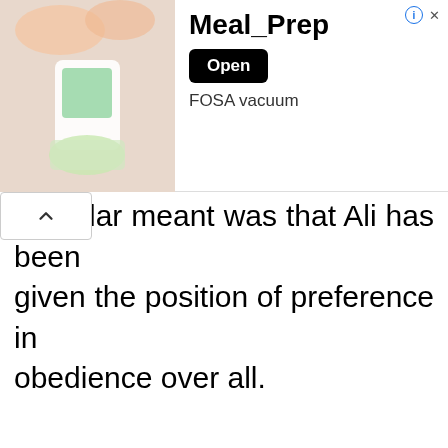[Figure (screenshot): Advertisement banner for Meal_Prep app featuring FOSA vacuum product with an image of a food chopper/blender, app title 'Meal_Prep', an 'Open' button, and subtitle 'FOSA vacuum']
lar meant was that Ali has been given the position of preference in obedience over all.
The third support to this meaning is what the Arab poet Hassan bin Thabit composed in Ghadeer Khum and which is usually popular among